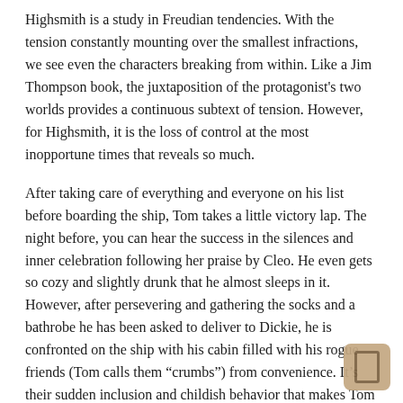Highsmith is a study in Freudian tendencies. With the tension constantly mounting over the smallest infractions, we see even the characters breaking from within. Like a Jim Thompson book, the juxtaposition of the protagonist's two worlds provides a continuous subtext of tension. However, for Highsmith, it is the loss of control at the most inopportune times that reveals so much.
After taking care of everything and everyone on his list before boarding the ship, Tom takes a little victory lap. The night before, you can hear the success in the silences and inner celebration following her praise by Cleo. He even gets so cozy and slightly drunk that he almost sleeps in it. However, after persevering and gathering the socks and a bathrobe he has been asked to deliver to Dickie, he is confronted on the ship with his cabin filled with his rogue friends (Tom calls them “crumbs”) from convenience. It’s their sudden inclusion and childish behavior that makes Tom stand out. Although he holds it because they have to jump ship, the bitter metallic taste is not one he wishes to savor after so much hard work.
Alone, on the waves, Ripley begins to gather. A man who knowingly...